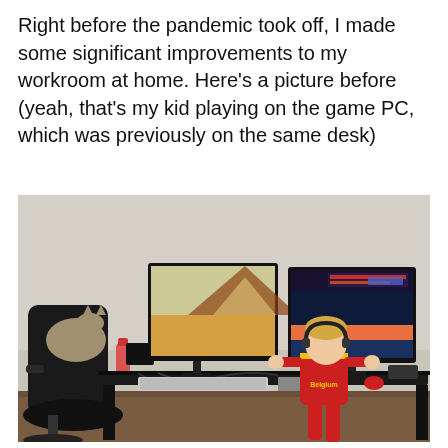Right before the pandemic took off, I made some significant improvements to my workroom at home. Here's a picture before (yeah, that's my kid playing on the game PC, which was previously on the same desk)
[Figure (photo): A child wearing a red Belgium football shirt standing at a large desk with two monitors. A gaming chair is on the left, a water bottle is visible, and various cables and peripherals are on the desk. The room has a light grey wall and wooden floor.]